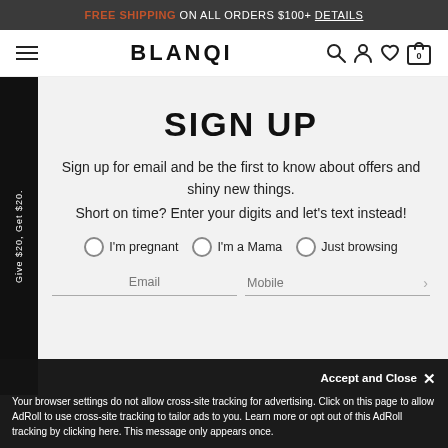FREE SHIPPING ON ALL ORDERS $100+ DETAILS
[Figure (screenshot): BLANQI website navigation bar with hamburger menu, BLANQI logo, search icon, user icon, heart/wishlist icon, and cart icon showing 0 items]
SIGN UP
Sign up for email and be the first to know about offers and shiny new things.
Short on time? Enter your digits and let's text instead!
I'm pregnant
I'm a Mama
Just browsing
Email   Mobile
Give $20, Get $20.
Accept and Close ×
Your browser settings do not allow cross-site tracking for advertising. Click on this page to allow AdRoll to use cross-site tracking to tailor ads to you. Learn more or opt out of this AdRoll tracking by clicking here. This message only appears once.